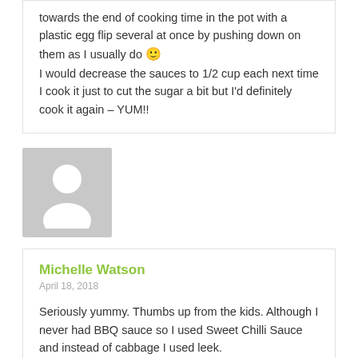towards the end of cooking time in the pot with a plastic egg flip several at once by pushing down on them as I usually do 🙂
I would decrease the sauces to 1/2 cup each next time I cook it just to cut the sugar a bit but I'd definitely cook it again – YUM!!
[Figure (photo): Grey avatar/profile picture placeholder with person silhouette]
Michelle Watson
April 18, 2018
Seriously yummy. Thumbs up from the kids. Although I never had BBQ sauce so I used Sweet Chilli Sauce and instead of cabbage I used leek.
[Figure (other): Five yellow star rating icons]